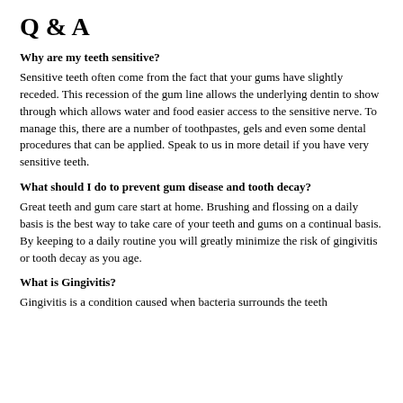Q & A
Why are my teeth sensitive?
Sensitive teeth often come from the fact that your gums have slightly receded. This recession of the gum line allows the underlying dentin to show through which allows water and food easier access to the sensitive nerve. To manage this, there are a number of toothpastes, gels and even some dental procedures that can be applied. Speak to us in more detail if you have very sensitive teeth.
What should I do to prevent gum disease and tooth decay?
Great teeth and gum care start at home. Brushing and flossing on a daily basis is the best way to take care of your teeth and gums on a continual basis. By keeping to a daily routine you will greatly minimize the risk of gingivitis or tooth decay as you age.
What is Gingivitis?
Gingivitis is a condition caused when bacteria surrounds the teeth